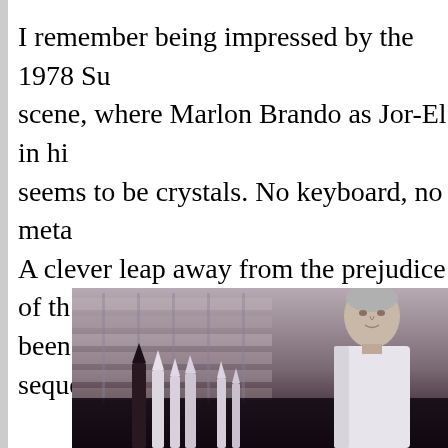I remember being impressed by the 1978 Su scene, where Marlon Brando as Jor-El in hi seems to be crystals. No keyboard, no meta A clever leap away from the prejudice of th been wise to use those gadgets in the seque
[Figure (photo): A movie still from what appears to be the 1978 Superman film, showing Marlon Brando as Jor-El standing in front of crystal-like shelving structures. A silver-haired man in a white garment is visible on the right side. In the foreground are several white crystal/tool shapes.]